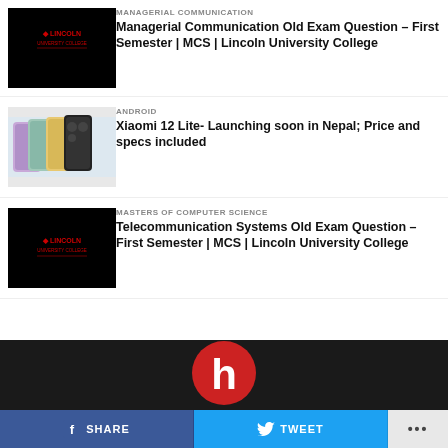MANAGERIAL COMMUNICATION
Managerial Communication Old Exam Question – First Semester | MCS | Lincoln University College
[Figure (logo): Lincoln University College logo on black background]
ANDROID
Xiaomi 12 Lite- Launching soon in Nepal; Price and specs included
[Figure (photo): Xiaomi 12 Lite smartphones in multiple colors]
MASTERS OF COMPUTER SCIENCE
Telecommunication Systems Old Exam Question – First Semester | MCS | Lincoln University College
[Figure (logo): Lincoln University College logo on black background]
[Figure (logo): Red and white 'h' logo on dark background in footer]
SHARE   TWEET   ...